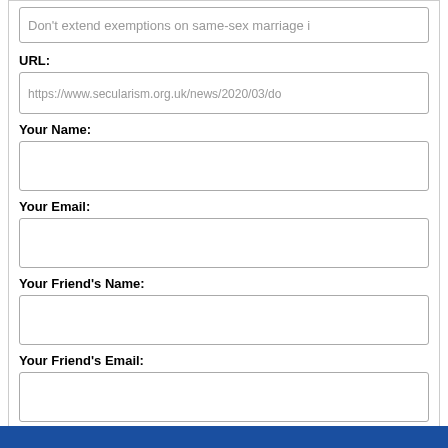Don't extend exemptions on same-sex marriage i
URL:
https://www.secularism.org.uk/news/2020/03/do
Your Name:
Your Email:
Your Friend's Name:
Your Friend's Email: